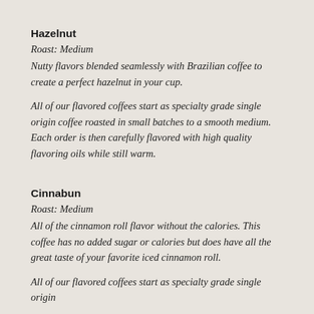Hazelnut
Roast: Medium
Nutty flavors blended seamlessly with Brazilian coffee to create a perfect hazelnut in your cup.
All of our flavored coffees start as specialty grade single origin coffee roasted in small batches to a smooth medium. Each order is then carefully flavored with high quality flavoring oils while still warm.
Cinnabun
Roast: Medium
All of the cinnamon roll flavor without the calories. This coffee has no added sugar or calories but does have all the great taste of your favorite iced cinnamon roll.
All of our flavored coffees start as specialty grade single origin